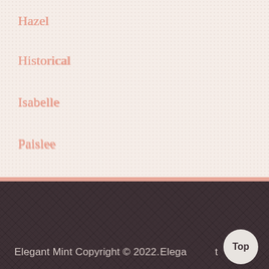Hazel
Historical
Isabelle
Paislee
Rose
Spring
Summer
Winter
Elegant Mint Copyright © 2022.
Elegant Mint